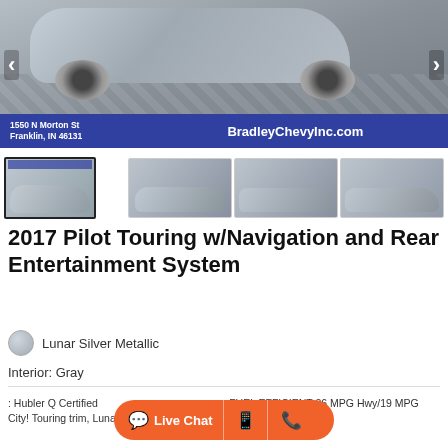[Figure (photo): Silver 2017 Honda Pilot SUV photographed from front-left angle on checkered floor, with dealer banner overlay showing address and website]
[Figure (photo): Thumbnail 1: Silver 2017 Honda Pilot (active/selected)]
[Figure (photo): Thumbnail 2: Silver 2017 Honda Pilot front view]
[Figure (photo): Thumbnail 3: Silver 2017 Honda Pilot side view]
[Figure (photo): Thumbnail 4: Silver 2017 Honda Pilot rear-side view]
2017 Pilot Touring w/Navigation and Rear Entertainment System
Lunar Silver Metallic
Interior: Gray
: Hubler Q Certified, FUEL EFFICIENT 26 MPG Hwy/19 MPG City! Touring trim, Lunar S... more